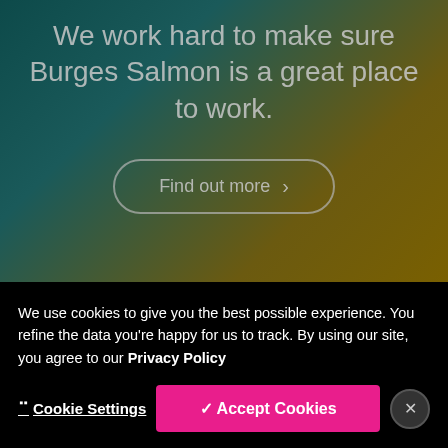We work hard to make sure Burges Salmon is a great place to work.
Find out more >
Sitemap >
Terms of use >
We use cookies to give you the best possible experience. You refine the data you're happy for us to track. By using our site, you agree to our Privacy Policy
> Cookie Settings
✓ Accept Cookies
×